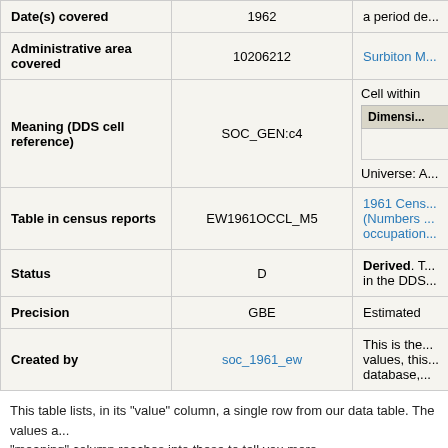| Field | Value | Notes |
| --- | --- | --- |
| Date(s) covered | 1962 | a period de... |
| Administrative area covered | 10206212 | Surbiton M... |
| Meaning (DDS cell reference) | SOC_GEN:c4 | Cell within...
Dimensi...
Universe: A... |
| Table in census reports | EW1961OCCL_M5 | 1961 Cens... (Numbers ... occupation... |
| Status | D | Derived. T... in the DDS... |
| Precision | GBE | Estimated |
| Created by | soc_1961_ew | This is the... values, this... database,... |
This table lists, in its "value" column, a single row from our data table. The values a... "meaning" column reaches into these to tell you more.